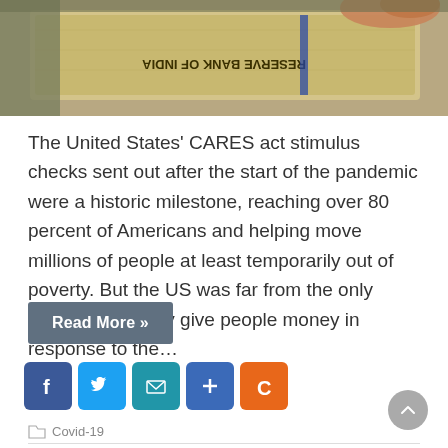[Figure (photo): Close-up photo of Indian banknotes (Reserve Bank of India currency) being held in a hand, shown upside down]
The United States' CARES act stimulus checks sent out after the start of the pandemic were a historic milestone, reaching over 80 percent of Americans and helping move millions of people at least temporarily out of poverty. But the US was far from the only country to quickly give people money in response to the…
Read More »
[Figure (infographic): Social sharing icons: Facebook (blue), Twitter (light blue), Email (teal), Plus/share (blue), C/Flipboard (orange)]
Covid-19